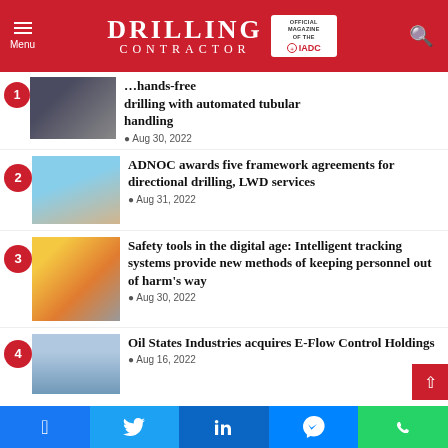Menu | DRILLING CONTRACTOR – Official Magazine of the IADC
POPULAR THIS WEEK
…hands-free drilling with automated tubular handling – Aug 30, 2022
2. ADNOC awards five framework agreements for directional drilling, LWD services – Aug 31, 2022
3. Safety tools in the digital age: Intelligent tracking systems provide new methods of keeping personnel out of harm's way – Aug 30, 2022
4. Oil States Industries acquires E-Flow Control Holdings – Aug 16, 2022
Facebook | Twitter | LinkedIn | Messenger | WhatsApp